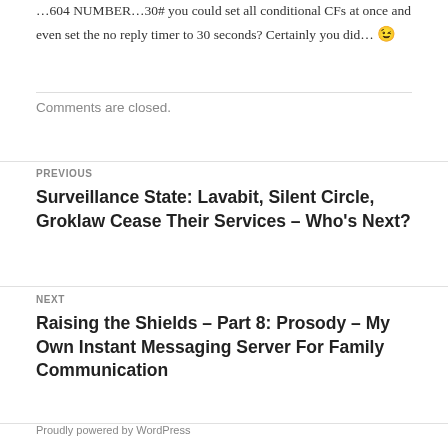604 NUMBER 30# you could set all conditional CFs at once and even set the no reply timer to 30 seconds? Certainly you did… 😉
Comments are closed.
PREVIOUS
Surveillance State: Lavabit, Silent Circle, Groklaw Cease Their Services – Who's Next?
NEXT
Raising the Shields – Part 8: Prosody – My Own Instant Messaging Server For Family Communication
Proudly powered by WordPress